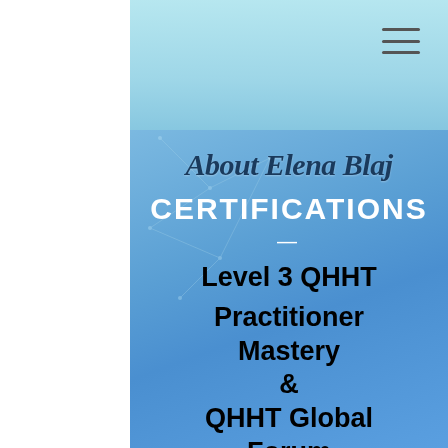About Elena Blaj
CERTIFICATIONS
Level 3 QHHT
Practitioner Mastery & QHHT Global Forum Moderator